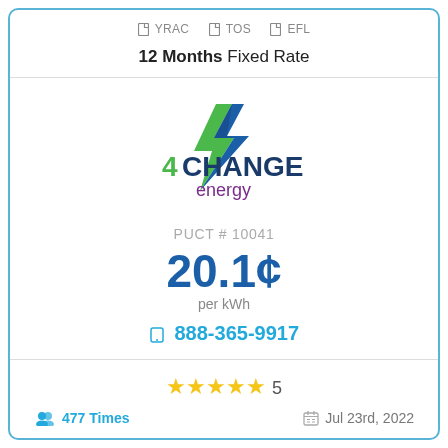YRAC   TOS   EFL
12 Months Fixed Rate
[Figure (logo): 4Change Energy logo with lightning bolt in green and blue, text '4CHANGE energy' with 4 in green and CHANGE in dark blue, energy in purple]
PUCT # 10041
20.1¢ per kWh
888-365-9917
★★★★★ 5
477 Times
Jul 23rd, 2022